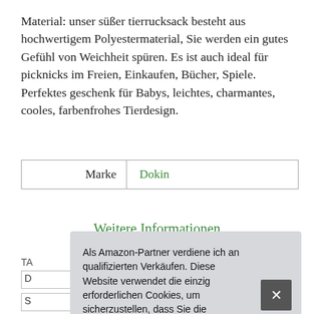Material: unser süßer tierrucksack besteht aus hochwertigem Polyestermaterial, Sie werden ein gutes Gefühl von Weichheit spüren. Es ist auch ideal für picknicks im Freien, Einkaufen, Bücher, Spiele. Perfektes geschenk für Babys, leichtes, charmantes, cooles, farbenfrohes Tierdesign.
| Marke |  |
| --- | --- |
| Marke | Dokin |
Weitere Informationen
Als Amazon-Partner verdiene ich an qualifizierten Verkäufen. Diese Website verwendet die einzig erforderlichen Cookies, um sicherzustellen, dass Sie die bestmögliche Erfahrung auf unserer Website erzielen. Mehr Informationen